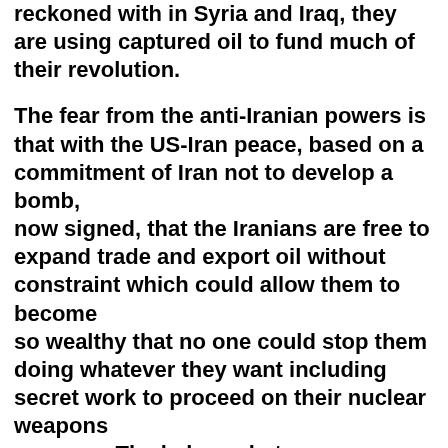reckoned with in Syria and Iraq, they are using captured oil to fund much of their revolution.
The fear from the anti-Iranian powers is that with the US-Iran peace, based on a commitment of Iran not to develop a bomb, now signed, that the Iranians are free to expand trade and export oil without constraint which could allow them to become so wealthy that no one could stop them doing whatever they want including secret work to proceed on their nuclear weapons program. The balance between moderates and hard liners in Iran is on a knife’s edge.
So a what-if scenario is that ‘what-if’ the western powers (America in particular) know that there is a replacement for oil, ready and capable. Then establishing peace with Iran means that Iran will have very limited time to take advantage of its oil. The prices could (and would) drop to a small profit more in norm with any other useful (but not